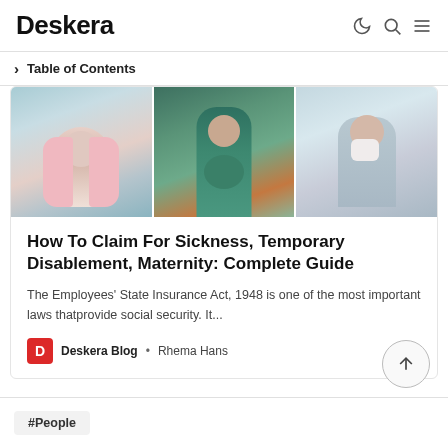Deskera
Table of Contents
[Figure (photo): Three panel image strip showing: person in pink jacket holding stomach, pregnant woman in teal dress touching belly, person in grey jacket covering face with tissue]
How To Claim For Sickness, Temporary Disablement, Maternity: Complete Guide
The Employees' State Insurance Act, 1948 is one of the most important laws thatprovide social security. It...
Deskera Blog • Rhema Hans
#People